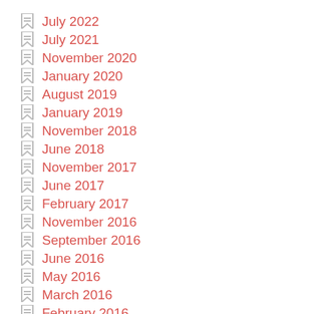July 2022
July 2021
November 2020
January 2020
August 2019
January 2019
November 2018
June 2018
November 2017
June 2017
February 2017
November 2016
September 2016
June 2016
May 2016
March 2016
February 2016
December 2015